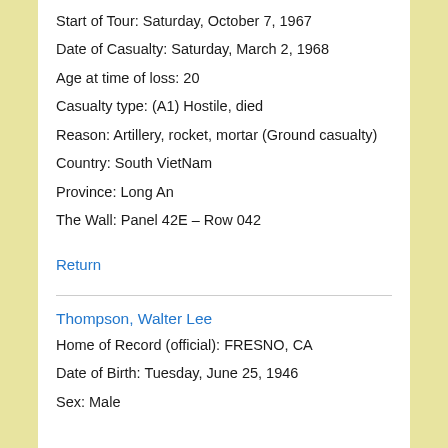Start of Tour: Saturday, October 7, 1967
Date of Casualty: Saturday, March 2, 1968
Age at time of loss: 20
Casualty type: (A1) Hostile, died
Reason: Artillery, rocket, mortar (Ground casualty)
Country: South VietNam
Province: Long An
The Wall: Panel 42E – Row 042
Return
Thompson, Walter Lee
Home of Record (official): FRESNO, CA
Date of Birth: Tuesday, June 25, 1946
Sex: Male